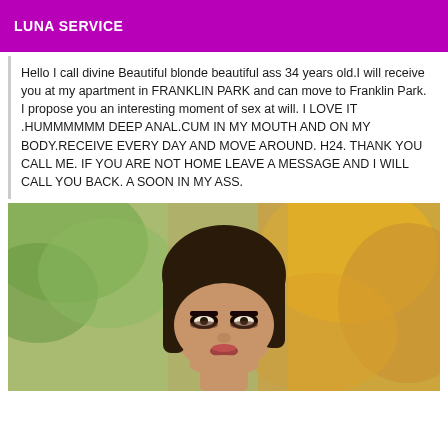LUNA SERVICE
Hello I call divine Beautiful blonde beautiful ass 34 years old.I will receive you at my apartment in FRANKLIN PARK and can move to Franklin Park. I propose you an interesting moment of sex at will. I LOVE IT .HUMMMMMM DEEP ANAL.CUM IN MY MOUTH AND ON MY BODY.RECEIVE EVERY DAY AND MOVE AROUND. H24. THANK YOU CALL ME. IF YOU ARE NOT HOME LEAVE A MESSAGE AND I WILL CALL YOU BACK. A SOON IN MY ASS.
[Figure (photo): Portrait photo of a woman with dark brown straight hair with bangs, heavy eye makeup, photographed outdoors with blurred green and orange/yellow foliage background]